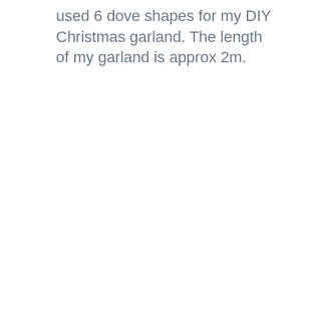used 6 dove shapes for my DIY Christmas garland. The length of my garland is approx 2m.